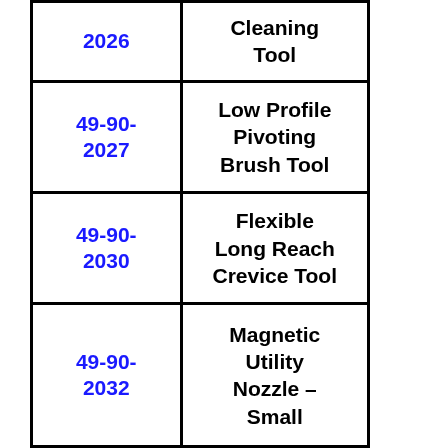| Part Number | Description |
| --- | --- |
| 2026 | Cleaning Tool |
| 49-90-2027 | Low Profile Pivoting Brush Tool |
| 49-90-2030 | Flexible Long Reach Crevice Tool |
| 49-90-2032 | Magnetic Utility Nozzle – Small |